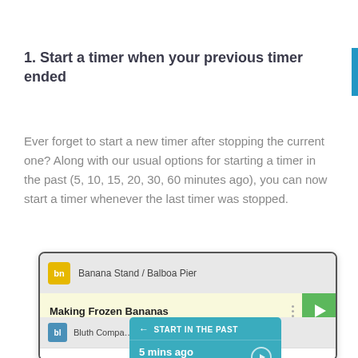1. Start a timer when your previous timer ended
Ever forget to start a new timer after stopping the current one? Along with our usual options for starting a timer in the past (5, 10, 15, 20, 30, 60 minutes ago), you can now start a timer whenever the last timer was stopped.
[Figure (screenshot): App UI screenshot showing a timer list with 'Banana Stand / Balboa Pier' and 'Making Frozen Bananas' entry, with a dropdown menu showing 'START IN THE PAST' options including '5 mins ago at 1:43pm' and '10 mins ago at 1:38pm', plus a Bluth Company section below with Web Development and Design entries.]